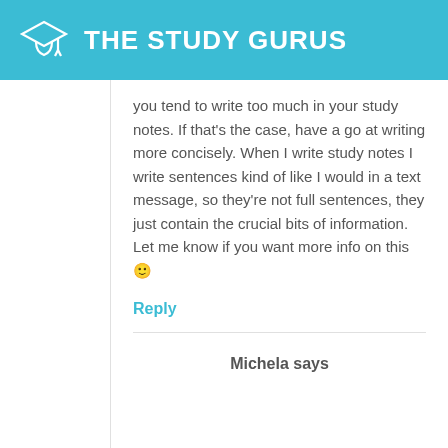THE STUDY GURUS
you tend to write too much in your study notes. If that's the case, have a go at writing more concisely. When I write study notes I write sentences kind of like I would in a text message, so they're not full sentences, they just contain the crucial bits of information. Let me know if you want more info on this 🙂
Reply
Michela says